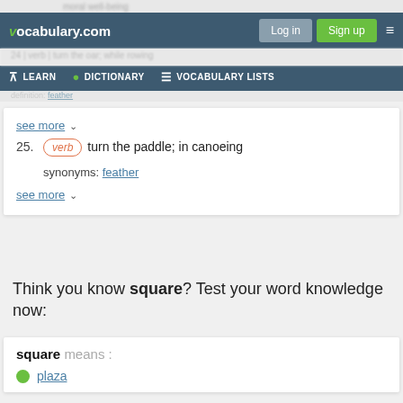vocabulary.com — Log in | Sign up | LEARN | DICTIONARY | VOCABULARY LISTS
see more
25. verb turn the paddle; in canoeing
synonyms: feather
see more
Think you know square? Test your word knowledge now:
square means :
plaza